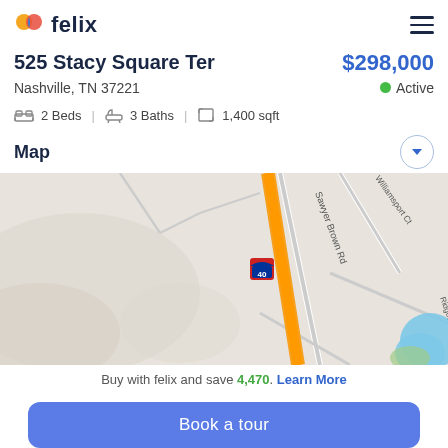felix
525 Stacy Square Ter
$298,000
Nashville, TN 37221
Active
2 Beds  3 Baths  1,400 sqft
Map
[Figure (map): Street map showing Nashville area with I-40 highway (orange), Sawyer Brown Rd, Williamsport Ct, and Ridgetake area visible]
Buy with felix and save 4,470. Learn More
Book a tour